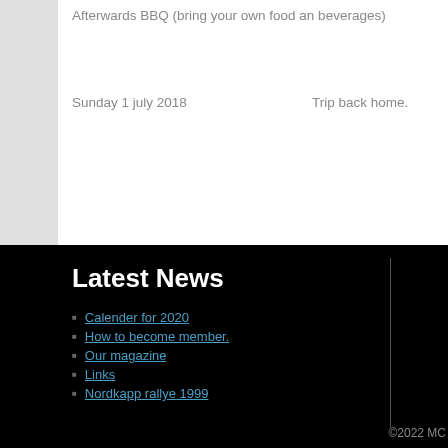Afterwards BBQ (bring your own food an beverages)
Sunday 1 july 2018    Trip back home.
Latest News
Calender for 2020
How to become member.
Our magazine
Links
Nordkapp rallye 1999
©2022 MC